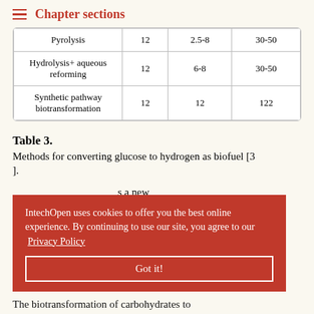Chapter sections
| Pyrolysis | 12 | 2.5-8 | 30-50 |
| Hydrolysis+ aqueous reforming | 12 | 6-8 | 30-50 |
| Synthetic pathway biotransformation | 12 | 12 | 122 |
Table 3.
Methods for converting glucose to hydrogen as biofuel [3].
...a new ...plication of ...en. This ...treatments. The biotransformation of carbohydrates to
IntechOpen uses cookies to offer you the best online experience. By continuing to use our site, you agree to our Privacy Policy
Got it!